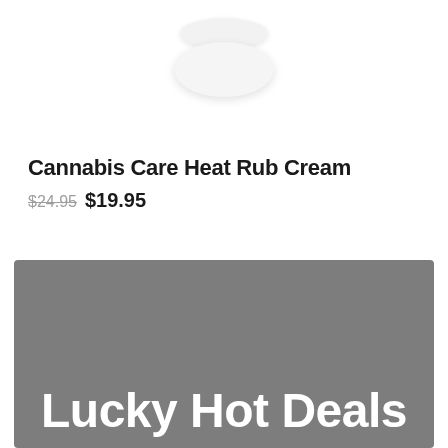[Figure (photo): White circular cream/lotion jar product photo on white background]
Cannabis Care Heat Rub Cream
$24.95 $19.95
[Figure (photo): Grey promotional banner with text 'Lucky Hot Deals']